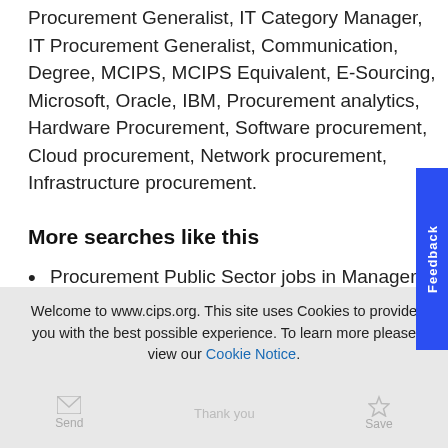Procurement Generalist, IT Category Manager, IT Procurement Generalist, Communication, Degree, MCIPS, MCIPS Equivalent, E-Sourcing, Microsoft, Oracle, IBM, Procurement analytics, Hardware Procurement, Software procurement, Cloud procurement, Network procurement, Infrastructure procurement.
More searches like this
Procurement Public Sector jobs in Manager
Category management Public Sector jobs in Manager
Welcome to www.cips.org. This site uses Cookies to provide you with the best possible experience. To learn more please view our Cookie Notice.